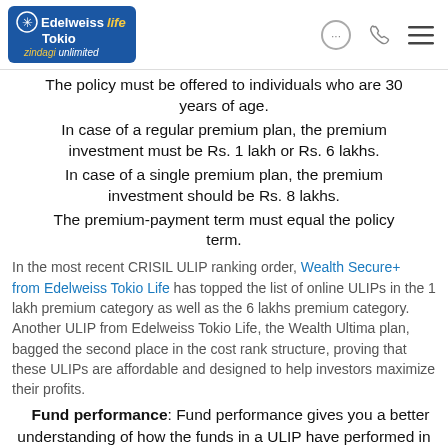Edelweiss Tokio Life — zindagi unlimited [logo and navigation icons]
The policy must be offered to individuals who are 30 years of age.
In case of a regular premium plan, the premium investment must be Rs. 1 lakh or Rs. 6 lakhs.
In case of a single premium plan, the premium investment should be Rs. 8 lakhs.
The premium-payment term must equal the policy term.
In the most recent CRISIL ULIP ranking order, Wealth Secure+ from Edelweiss Tokio Life has topped the list of online ULIPs in the 1 lakh premium category as well as the 6 lakhs premium category. Another ULIP from Edelweiss Tokio Life, the Wealth Ultima plan, bagged the second place in the cost rank structure, proving that these ULIPs are affordable and designed to help investors maximize their profits.
Fund performance: Fund performance gives you a better understanding of how the funds in a ULIP have performed in the past. Each fund has a benchmark return and an actual return, and needless to say, if the actual return exceeds the benchmark, it reflects positively on the performance of the fund. The